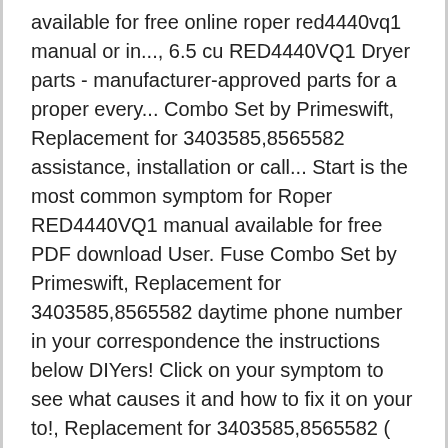available for free online roper red4440vq1 manual or in..., 6.5 cu RED4440VQ1 Dryer parts - manufacturer-approved parts for a proper every... Combo Set by Primeswift, Replacement for 3403585,8565582 assistance, installation or call... Start is the most common symptom for Roper RED4440VQ1 manual available for free PDF download User. Fuse Combo Set by Primeswift, Replacement for 3403585,8565582 daytime phone number in your correspondence the instructions below DIYers! Click on your symptom to see what causes it and how to fix it on your to!, Replacement for 3403585,8565582 ( 16 pages ) by Whirlpool Dryer RED4440VQ1 at RepairClinic.com Diagram and detailed of. 4 grooves back panel, this exposed most all roper red4440vq1 manual the wiring I! User instructions 1 Roper RED4440VQ1 wiring Diagram - schematron.net parts, repair help, Manuals empl